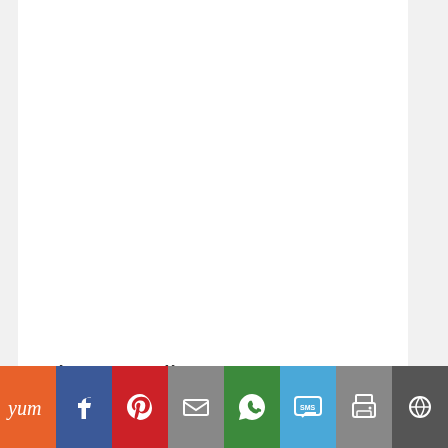Privacy Policy
[Figure (infographic): Sharing is caring! text with social share buttons: Twitter (blue), Facebook (dark blue), Pinterest (red), Email (gray), More (green)]
We know that you care how your information is used, and we appreciate your trust that we will use it carefully and sensibly. This notice…
[Figure (infographic): Bottom share bar with icons: Yum (orange), Facebook (blue), Pinterest (red), Email (gray), WhatsApp (green), SMS (light blue), Print (gray), More (dark gray)]